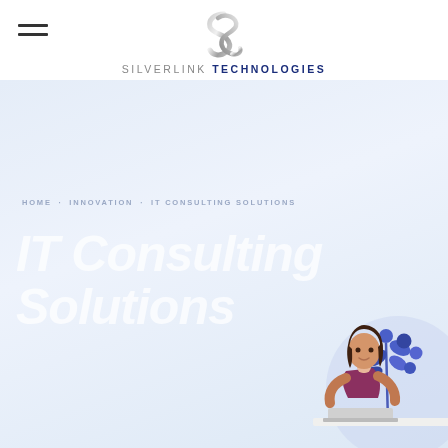Silverlink Technologies
HOME · INNOVATION · IT CONSULTING SOLUTIONS
IT Consulting Solutions
[Figure (illustration): Illustration of a woman with dark hair wearing a maroon top, sitting at a desk, with blue decorative plant leaves behind her. Purple/lavender circular background element.]